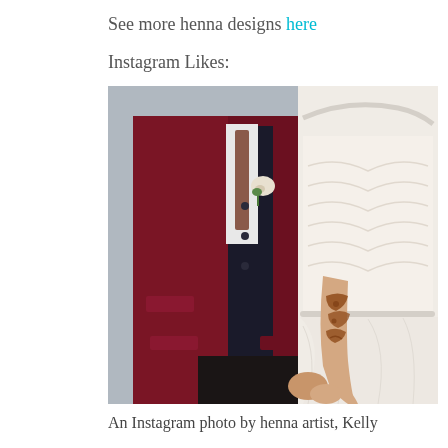See more henna designs here
Instagram Likes:
[Figure (photo): A wedding couple holding hands. The groom wears a dark red/maroon velvet blazer over a dark vest with a patterned tie and a white boutonniere. The bride wears a white lace halter-neck wedding gown with a pearl neckline. Her forearm is decorated with intricate henna designs. They are holding hands in the foreground.]
An Instagram photo by henna artist, Kelly